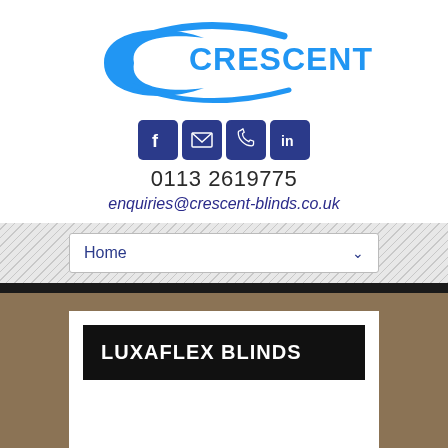[Figure (logo): Crescent Blinds logo: blue crescent/swoosh shape on left, 'CRESCENT BLINDS' text in blue to the right]
[Figure (infographic): Four social media / contact icons: Facebook (f), email envelope, phone, LinkedIn (in) — all dark navy blue rounded squares]
0113 2619775
enquiries@crescent-blinds.co.uk
Home
LUXAFLEX BLINDS